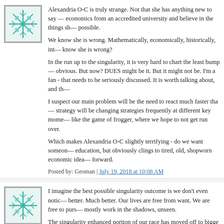[Figure (illustration): Teal/green avatar with snowflake or leaf pattern, bordered square]
Alexandria O-C is truly strange. Not that she has anything new to say — economics from an accredited university and believe in the things she possible.

We know she is wrong. Mathematically, economically, historically, it— know she is wrong?

In the run up to the singularity, it is very hard to chart the least bumpy obvious. But now? DUES might be it. But it might not be. I'm a fan - that needs to be seriously discussed. It is worth talking about, and th—

I suspect our main problem will be the need to react much faster tha— strategy will be changing strategies frequently at different key mome— like the game of frogger, where we hope to not get run over.

Which makes Alexandria O-C slightly terrifying - do we want someon— education, but obviously clings to tired, old, shopworn economic idea— forward.
Posted by: Geoman | July 19, 2018 at 10:08 AM
[Figure (illustration): Teal/green avatar with snowflake or leaf pattern, bordered square]
I imagine the best possible singularity outcome is we don't even noti— better. Much better. Our lives are free from want. We are free to purs— mostly work in the shadows, unseen.

The singularity enhanced portion of our race has moved off to bigge— maintenance is a triviality to them, like saving an old scrapbook in th— tossing out. Mostly they just keep us from hurting one another, and le—
Posted by: Geoman | July 19, 2018 at 10:20 AM